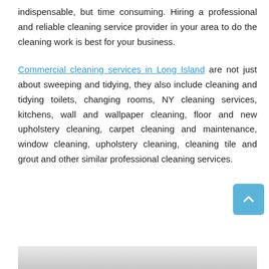indispensable, but time consuming. Hiring a professional and reliable cleaning service provider in your area to do the cleaning work is best for your business.
Commercial cleaning services in Long Island are not just about sweeping and tidying, they also include cleaning and tidying toilets, changing rooms, NY cleaning services, kitchens, wall and wallpaper cleaning, floor and new upholstery cleaning, carpet cleaning and maintenance, window cleaning, upholstery cleaning, cleaning tile and grout and other similar professional cleaning services.
[Figure (photo): Partial bottom of a photo, light grey/white tones, content not fully visible]